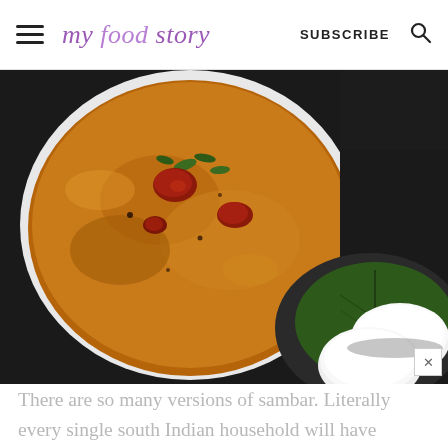my food story  SUBSCRIBE
[Figure (photo): Overhead view of a bowl of sambar (South Indian lentil soup) with red chilies and curry leaves, next to idli (steamed rice cakes) on a dark background]
There are so many versions of sambar. Literally every single south Indian household will have